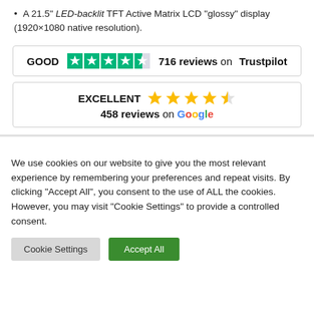A 21.5" LED-backlit TFT Active Matrix LCD "glossy" display (1920×1080 native resolution).
[Figure (infographic): Trustpilot rating box: GOOD with 4.5 green stars and 716 reviews on Trustpilot]
[Figure (infographic): Google rating box: EXCELLENT with 4.5 yellow stars and 458 reviews on Google]
We use cookies on our website to give you the most relevant experience by remembering your preferences and repeat visits. By clicking "Accept All", you consent to the use of ALL the cookies. However, you may visit "Cookie Settings" to provide a controlled consent.
Cookie Settings | Accept All